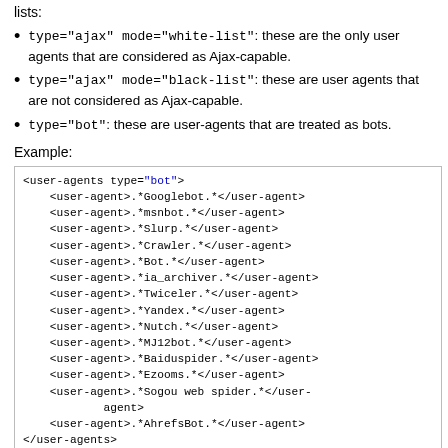lists:
type="ajax" mode="white-list": these are the only user agents that are considered as Ajax-capable.
type="ajax" mode="black-list": these are user agents that are not considered as Ajax-capable.
type="bot": these are user-agents that are treated as bots.
Example:
<user-agents type="bot">
    <user-agent>.*Googlebot.*</user-agent>
    <user-agent>.*msnbot.*</user-agent>
    <user-agent>.*Slurp.*</user-agent>
    <user-agent>.*Crawler.*</user-agent>
    <user-agent>.*Bot.*</user-agent>
    <user-agent>.*ia_archiver.*</user-agent>
    <user-agent>.*Twiceler.*</user-agent>
    <user-agent>.*Yandex.*</user-agent>
    <user-agent>.*Nutch.*</user-agent>
    <user-agent>.*MJ12bot.*</user-agent>
    <user-agent>.*Baiduspider.*</user-agent>
    <user-agent>.*Ezooms.*</user-agent>
    <user-agent>.*Sogou web spider.*</user-
            agent>
    <user-agent>.*AhrefsBot.*</user-agent>
</user-agents>